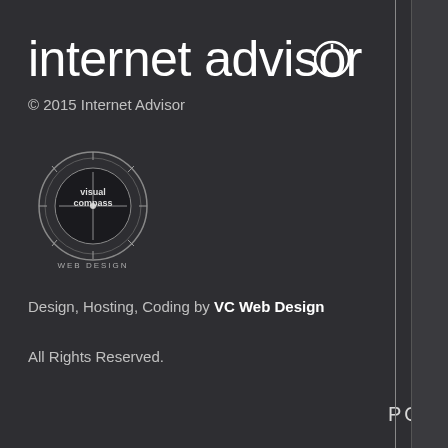internet advisor
© 2015 Internet Advisor
[Figure (logo): Visual Compass Web Design circular logo with compass design]
Design, Hosting, Coding by VC Web Design
All Rights Reserved.
PODCASTS
TOOLKIT
ANTIMALWARE
ANTIVIRUS
ROOTKIT SCANNERSS
OTHER FREE UTILITIES
MICROSOFT FIXIT SOLUTIONS